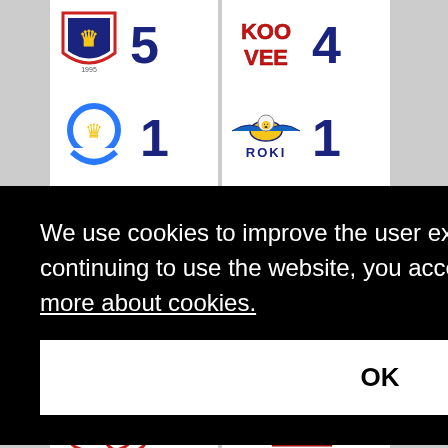[Figure (logo): Sports team logo - shield with lion emblem]
5
[Figure (logo): KooVee sports team logo - red text]
4
[Figure (logo): Blue circular crown logo]
1
[Figure (logo): RoKi hockey team logo - bird with wings]
1
We use cookies to improve the user experience of our service. By continuing to use the website, you accept our cookie policy.  Read more about cookies.
OK
[Figure (logo): Sports team logo bottom left]
[Figure (logo): Sports team logo bottom right]